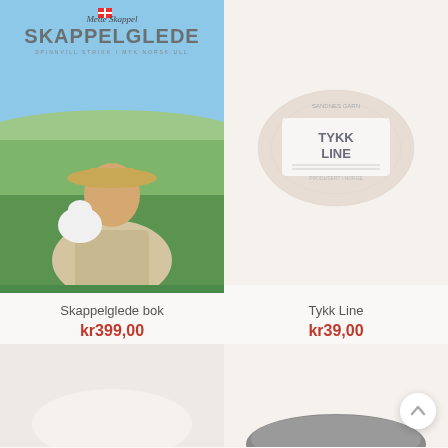[Figure (photo): Book cover of 'Skappelglede' by Mette Skappel, showing a smiling woman wearing a Fair Isle sweater and straw hat, holding a white lamb, with green countryside in background]
[Figure (photo): Ball of light pinkish-beige yarn labeled 'Tykk Line' by Sandnes Garn, on a light cream/beige background]
Skappelglede bok
kr399,00
Tykk Line
kr39,00
[Figure (photo): Partial product image at bottom left, appears to show a light colored textile or yarn product on white background]
[Figure (photo): Partial product image at bottom right, showing what appears to be a dark colored textured product, with a scroll-to-top arrow button in corner]